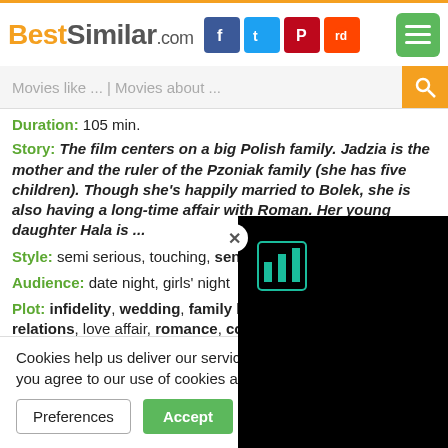BestSimilar.com
Movies like ... | Movies about ...
Duration: 105 min.
Story: The film centers on a big Polish family. Jadzia is the mother and the ruler of the Pzoniak family (she has five children). Though she's happily married to Bolek, she is also having a long-time affair with Roman. Her young daughter Hala is ...
Style: semi serious, touching, sentimental, talky, realistic ...
Audience: date night, girls' night
Plot: infidelity, wedding, family life, pregnancy, family relations, love affair, romance, couples, parents and children, coming of age, life is a bitch, dishonesty ...
Time: 20th century, 90s
Cookies help us deliver our services. By us... you agree to our use of cookies as describe...
Preferences | Accept